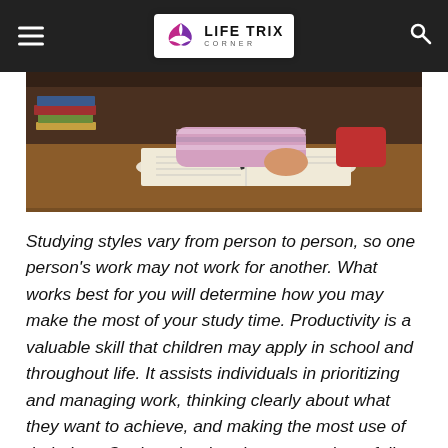LIFE TRIX CORNER
[Figure (photo): A student writing in a notebook at a desk with books stacked nearby, wearing a striped shirt. Viewed from above/side angle.]
Studying styles vary from person to person, so one person's work may not work for another. What works best for you will determine how you may make the most of your study time. Productivity is a valuable skill that children may apply in school and throughout life. It assists individuals in prioritizing and managing work, thinking clearly about what they want to achieve, and making the most use of their time. On the other hand, many students fail to develop constructive study routines and lose time, energy, and, most importantly, productivity. Though each student is unique and prefers to study in various ways, there are several tactics